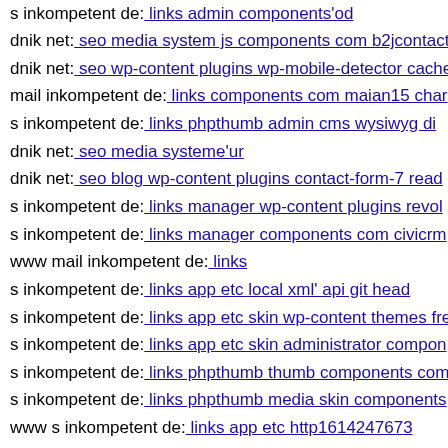s inkompetent de: links admin components'od
dnik net: seo media system js components com b2jcontact
dnik net: seo wp-content plugins wp-mobile-detector cache
mail inkompetent de: links components com maian15 char
s inkompetent de: links phpthumb admin cms wysiwyg di
dnik net: seo media systeme'ur
dnik net: seo blog wp-content plugins contact-form-7 read
s inkompetent de: links manager wp-content plugins revol
s inkompetent de: links manager components com civicrm
www mail inkompetent de: links
s inkompetent de: links app etc local xml' api git head
s inkompetent de: links app etc skin wp-content themes fre
s inkompetent de: links app etc skin administrator compon
s inkompetent de: links phpthumb thumb components com
s inkompetent de: links phpthumb media skin components
www s inkompetent de: links app etc http1614247673
dnik net: seo media system components com foxcontact li
www dnik net: seo wp-content themes twentyfourteen core
s inkompetent de: links app etc skin skin images stories pe
dnik org: index assets vendor jquery filer uploads magmi c
s inkompetent de: links admin cms wysiwyg directivefykl